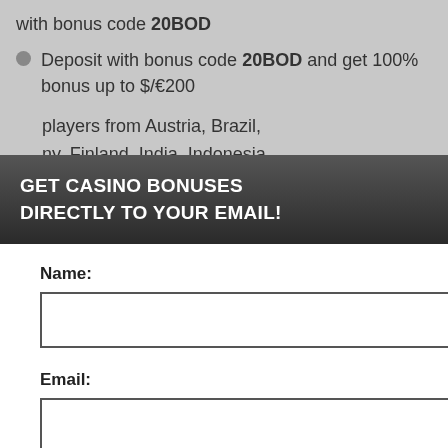with bonus code 20BOD
Deposit with bonus code 20BOD and get 100% bonus up to $/€200
players from Austria, Brazil, ny, Finland, India, Indonesia, nd, Norway, Poland, any more
u are only allowed to eighteen (18) years old or of perience, we use Using this site, kie & privacy policy.
GET CASINO BONUSES DIRECTLY TO YOUR EMAIL!
Name:
Email:
Submit
By subscribing you are certifying that you have reviewed and accepted our updated Privacy and Cookie policy.